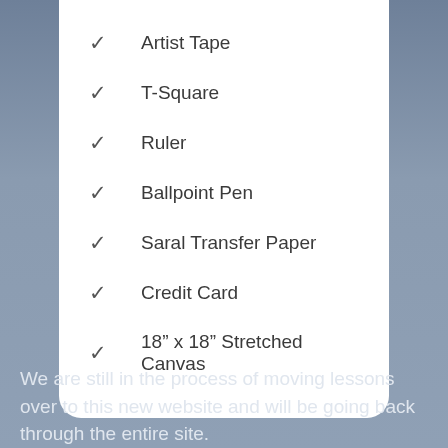Artist Tape
T-Square
Ruler
Ballpoint Pen
Saral Transfer Paper
Credit Card
18” x 18” Stretched Canvas
We are still in the process of moving lessons over to this new website and will be going back through the entire site.